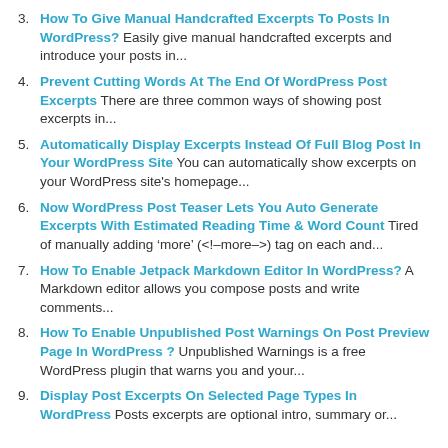3. How To Give Manual Handcrafted Excerpts To Posts In WordPress? Easily give manual handcrafted excerpts and introduce your posts in...
4. Prevent Cutting Words At The End Of WordPress Post Excerpts There are three common ways of showing post excerpts in...
5. Automatically Display Excerpts Instead Of Full Blog Post In Your WordPress Site You can automatically show excerpts on your WordPress site's homepage...
6. Now WordPress Post Teaser Lets You Auto Generate Excerpts With Estimated Reading Time & Word Count Tired of manually adding ‘more’ (<!--more-->) tag on each and...
7. How To Enable Jetpack Markdown Editor In WordPress? A Markdown editor allows you compose posts and write comments...
8. How To Enable Unpublished Post Warnings On Post Preview Page In WordPress ? Unpublished Warnings is a free WordPress plugin that warns you and your...
9. Display Post Excerpts On Selected Page Types In WordPress Posts excerpts are optional intro, summary or...